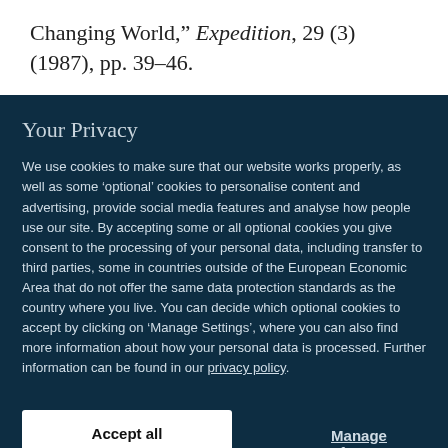Changing World,” Expedition, 29 (3) (1987), pp. 39–46.
Your Privacy
We use cookies to make sure that our website works properly, as well as some ‘optional’ cookies to personalise content and advertising, provide social media features and analyse how people use our site. By accepting some or all optional cookies you give consent to the processing of your personal data, including transfer to third parties, some in countries outside of the European Economic Area that do not offer the same data protection standards as the country where you live. You can decide which optional cookies to accept by clicking on ‘Manage Settings’, where you can also find more information about how your personal data is processed. Further information can be found in our privacy policy.
Accept all cookies
Manage preferences